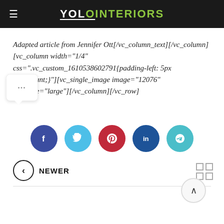YOLO INTERIORS
Adapted article from Jennifer Ott[/vc_column_text][/vc_column][vc_column width="1/4" css=".vc_custom_1610538602791{padding-left: 5px !important;}"][vc_single_image image="12076" img_size="large"][/vc_column][/vc_row]
[Figure (other): Social share buttons row: Facebook (dark blue circle), Twitter (light blue circle), Pinterest (red circle), LinkedIn (dark blue circle), Telegram (teal circle)]
NEWER
[Figure (other): Back to top arrow button, circular, bottom right corner]